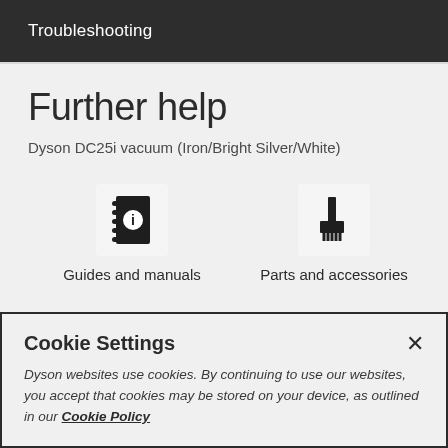Troubleshooting
Further help
Dyson DC25i vacuum (Iron/Bright Silver/White)
[Figure (illustration): Icon: notebook with info symbol (Guides and manuals)]
Guides and manuals
[Figure (illustration): Icon: vacuum tool/brush attachment (Parts and accessories)]
Parts and accessories
Cookie Settings
Dyson websites use cookies. By continuing to use our websites, you accept that cookies may be stored on your device, as outlined in our Cookie Policy